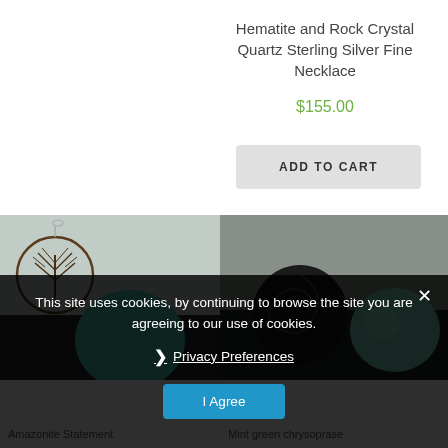Hematite and Rock Crystal Quartz Sterling Silver Fine Necklace
$155.00
ADD TO CART
[Figure (photo): Close-up photo of jewelry items: a decorative tree-of-life pendant and teal/turquoise beads on a grey background]
[Figure (photo): Close-up photo of a dark spiral/coil bead and mint green/teal bead on a grey background]
This site uses cookies, by continuing to browse the site you are agreeing to our use of cookies.
Privacy Preferences
I Agree
Amazonite Statement
Mint green chrysoprase